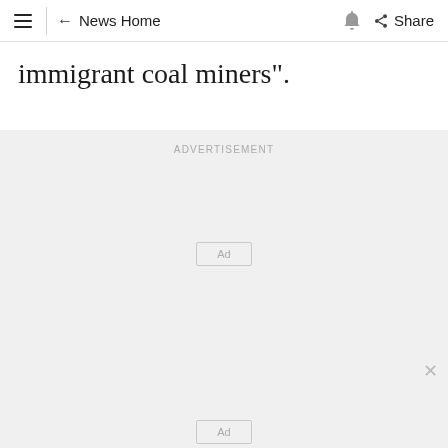≡ ← News Home 🔔 Share
immigrant coal miners".
[Figure (screenshot): Advertisement area with 'ADVERTISEMENT' label and two Ad placeholder boxes on a light grey background, with a close (×) button at bottom right.]